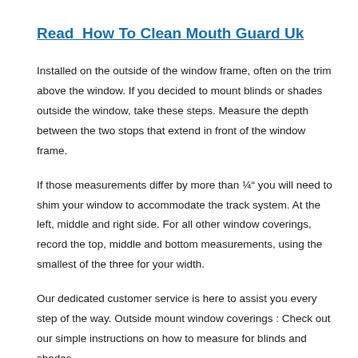Read  How To Clean Mouth Guard Uk
Installed on the outside of the window frame, often on the trim above the window. If you decided to mount blinds or shades outside the window, take these steps. Measure the depth between the two stops that extend in front of the window frame.
If those measurements differ by more than ¼” you will need to shim your window to accommodate the track system. At the left, middle and right side. For all other window coverings, record the top, middle and bottom measurements, using the smallest of the three for your width.
Our dedicated customer service is here to assist you every step of the way. Outside mount window coverings : Check out our simple instructions on how to measure for blinds and shades.